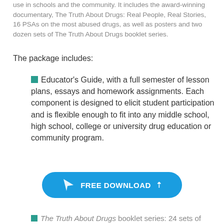use in schools and the community. It includes the award-winning documentary, The Truth About Drugs: Real People, Real Stories, 16 PSAs on the most abused drugs, as well as posters and two dozen sets of The Truth About Drugs booklet series.
The package includes:
Educator's Guide, with a full semester of lesson plans, essays and homework assignments. Each component is designed to elicit student participation and is flexible enough to fit into any middle school, high school, college or university drug education or community program.
[Figure (other): Blue rounded rectangle button with cursor/arrow icon, text FREE DOWNLOAD, and upward chevron arrow]
The Truth About Drugs booklet series: 24 sets of